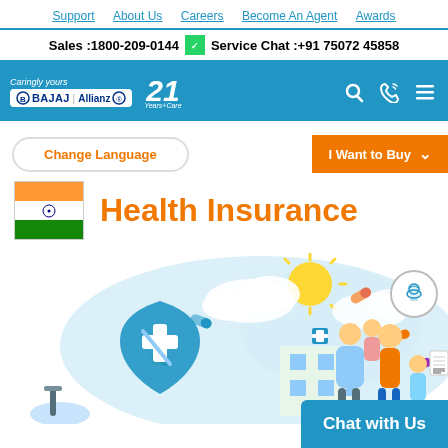Support | About Us | Careers | Become An Agent | Awards
Sales :1800-209-0144   Service Chat :+91 75072 45858
[Figure (logo): Bajaj Allianz logo with 21 Years of Care badge and blue navigation bar with search, phone, and menu icons]
Change Language
I Want to Buy
[Figure (illustration): Indian flag]
Health Insurance
[Figure (illustration): Health insurance illustration showing a family (father, mother, children), hospital building, medical shield with syringe, sun, clouds, and medical capsules on a light blue background]
Chat with Us